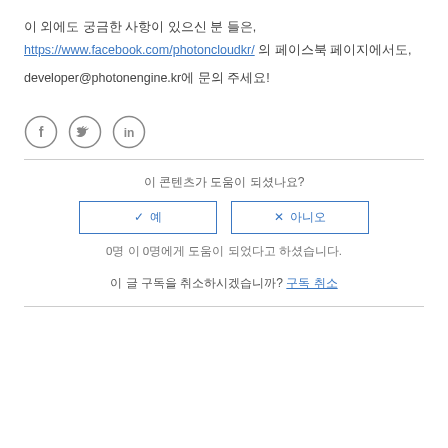이 외에도 궁금한 사항이 있으신 분 들은,
https://www.facebook.com/photoncloudkr/ 의 페이스북 페이지에서도,
developer@photonengine.kr에 문의 주세요!
[Figure (illustration): Social media icons: Facebook (f), Twitter (bird), LinkedIn (in)]
이 콘텐츠가 도움이 되셨나요?
✓ 예  ✗ 아니오 (feedback buttons)
0명 이 0명에게 도움이 되었다고 하셨습니다.
이 글 구독을 취소하시겠습니까? 구독 취소